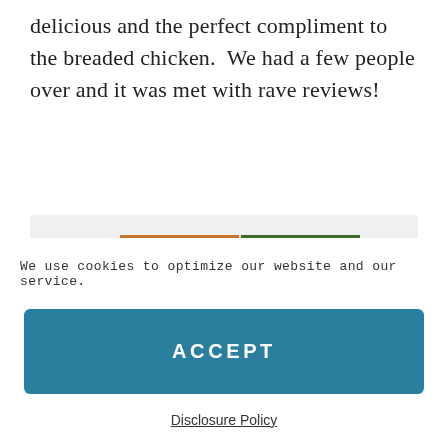delicious and the perfect compliment to the breaded chicken.  We had a few people over and it was met with rave reviews!
[Figure (photo): Two food photos side by side: left shows a jar of 'oomel tesoros' seasoning spice product with orange and green coloring; right shows a breaded chicken dish on a plate with sauce and garnish.]
We use cookies to optimize our website and our service.
ACCEPT
Disclosure Policy